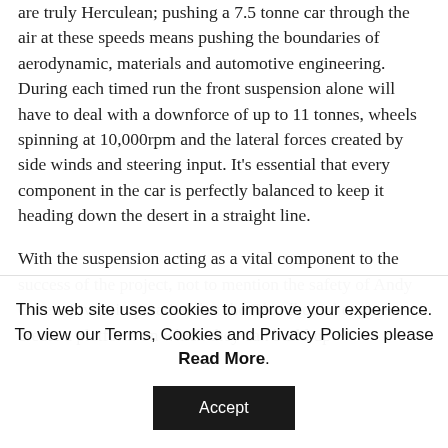are truly Herculean; pushing a 7.5 tonne car through the air at these speeds means pushing the boundaries of aerodynamic, materials and automotive engineering. During each timed run the front suspension alone will have to deal with a downforce of up to 11 tonnes, wheels spinning at 10,000rpm and the lateral forces created by side winds and steering input. It's essential that every component in the car is perfectly balanced to keep it heading down the desert in a straight line.
With the suspension acting as a vital component to the success of the project, not to mention the safety of Andy Green, it was imperative that the Bloodhound engineers create a platform on which they can build up
This web site uses cookies to improve your experience. To view our Terms, Cookies and Privacy Policies please Read More.